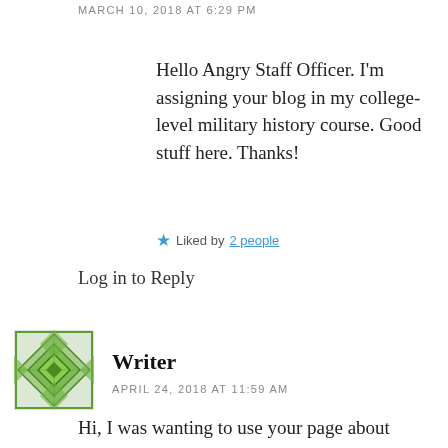MARCH 10, 2018 AT 6:29 PM
Hello Angry Staff Officer. I'm assigning your blog in my college-level military history course. Good stuff here. Thanks!
Liked by 2 people
Log in to Reply
Writer
APRIL 24, 2018 AT 11:59 AM
Hi, I was wanting to use your page about artillery in World War One for a research